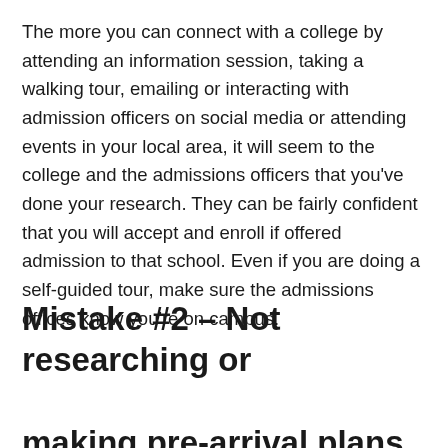The more you can connect with a college by attending an information session, taking a walking tour, emailing or interacting with admission officers on social media or attending events in your local area, it will seem to the college and the admissions officers that you've done your research. They can be fairly confident that you will accept and enroll if offered admission to that school. Even if you are doing a self-guided tour, make sure the admissions offices know you're on campus.
Mistake #2 – Not researching or making pre-arrival plans prior to